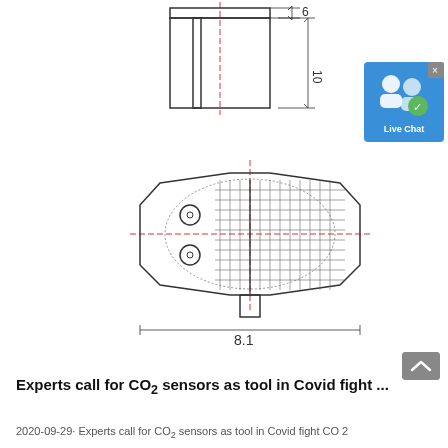[Figure (engineering-diagram): Top view engineering schematic of a component showing side profile with dimension annotations: '6' at top right and '10' for height on the right side. Shows a cylindrical/rectangular component with a stem.]
[Figure (engineering-diagram): Front/bottom view engineering schematic of a sensor component showing an octagonal housing with two circular pins and a mesh/grid pattern on the right half. Dimension annotation '8.1' shown at the bottom with arrows.]
[Figure (other): Live Chat widget button with blue background, white user/chat icons and green checkmark, with an X close button.]
Experts call for CO2 sensors as tool in Covid fight ...
2020-09-29· Experts call for CO2 sensors as tool in Covid fight CO 2